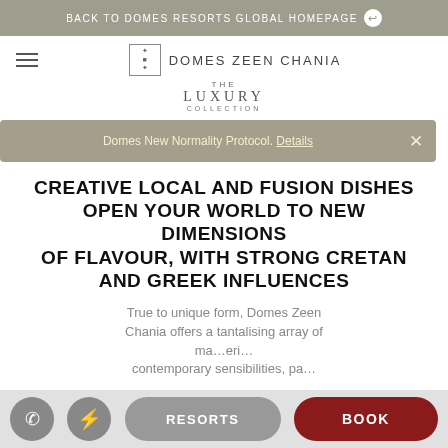BACK TO DOMES RESORTS GLOBAL HOMEPAGE
[Figure (logo): Domes Zeen Chania logo with hamburger menu and The Luxury Collection branding]
Domes New Normality Protocol. Details
CREATIVE LOCAL AND FUSION DISHES OPEN YOUR WORLD TO NEW DIMENSIONS OF FLAVOUR, WITH STRONG CRETAN AND GREEK INFLUENCES
True to unique form, Domes Zeen Chania offers a tantalising array of ma...eri...contemporary sensibilities, pa...in...
RESORTS   BOOK